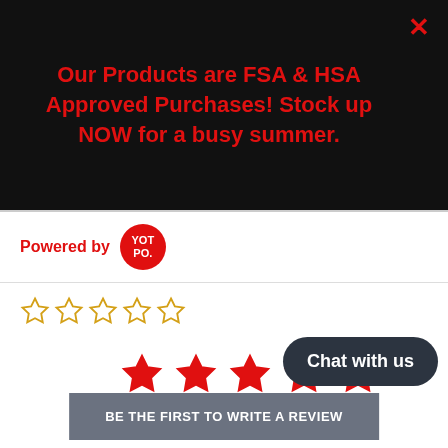Our Products are FSA & HSA Approved Purchases! Stock up NOW for a busy summer.
Powered by YOTPO
[Figure (other): Five empty gold star rating icons]
[Figure (other): Five filled red star rating icons]
Chat with us
BE THE FIRST TO WRITE A REVIEW